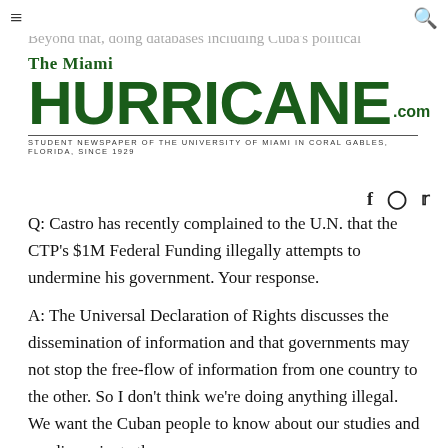The Miami Hurricane.com — STUDENT NEWSPAPER OF THE UNIVERSITY OF MIAMI IN CORAL GABLES, FLORIDA, SINCE 1929
take place but learning from Eastern Europe's lessons. Beyond that, doing databases including Cuba's political prisoners, laws, focuses on research area. There is agreement about OSOURCE area research area. May be accessed at http://ctp.iccas.miami.edu.
Q: Castro has recently complained to the U.N. that the CTP's $1M Federal Funding illegally attempts to undermine his government. Your response.
A: The Universal Declaration of Rights discusses the dissemination of information and that governments may not stop the free-flow of information from one country to the other. So I don't think we're doing anything illegal. We want the Cuban people to know about our studies and we disseminate them.
Q: Considering Castro has crushed almost all organized resistance to the regime, how will democracy emerge?
A: Slow and difficult. We must distinguish between